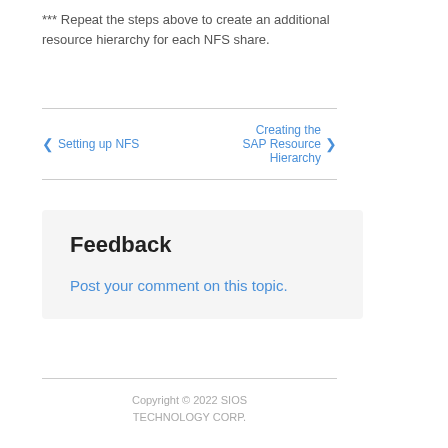*** Repeat the steps above to create an additional resource hierarchy for each NFS share.
◄ Setting up NFS    Creating the SAP Resource Hierarchy ►
Feedback
Post your comment on this topic.
Copyright © 2022 SIOS TECHNOLOGY CORP.